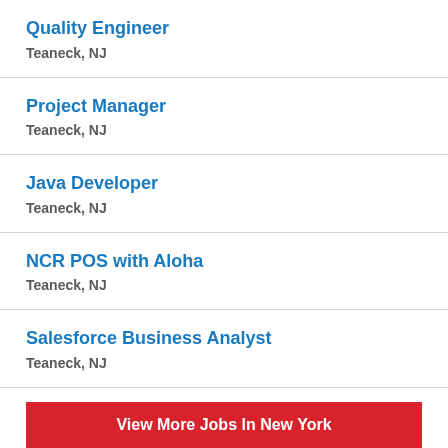Quality Engineer
Teaneck, NJ
Project Manager
Teaneck, NJ
Java Developer
Teaneck, NJ
NCR POS with Aloha
Teaneck, NJ
Salesforce Business Analyst
Teaneck, NJ
View More Jobs In New York